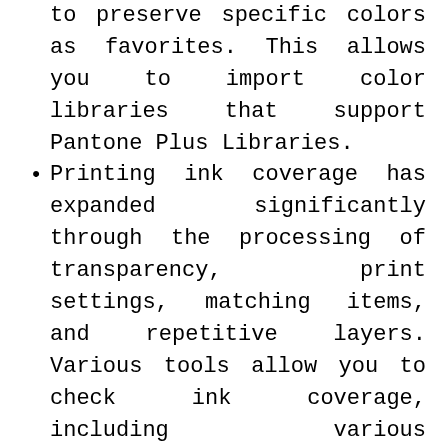to preserve specific colors as favorites. This allows you to import color libraries that support Pantone Plus Libraries.
Printing ink coverage has expanded significantly through the processing of transparency, print settings, matching items, and repetitive layers. Various tools allow you to check ink coverage, including various parameters. You can apply black spot correction using Little CMS or Adobe CMM. Initial basic color preferences can easily be changed according to your needs.
Multi-user development environment manager. The ability to install batch licenses in PitStop Pro allows you to centrally manage and standardize your pre-installed, multi-user, development